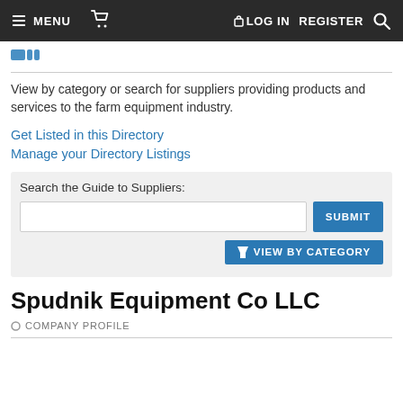MENU  [cart]  LOG IN  REGISTER  [search]
[Figure (logo): Blue logo icon/dots in top-left below nav]
View by category or search for suppliers providing products and services to the farm equipment industry.
Get Listed in this Directory
Manage your Directory Listings
Search the Guide to Suppliers: [input field] SUBMIT  VIEW BY CATEGORY
Spudnik Equipment Co LLC
COMPANY PROFILE